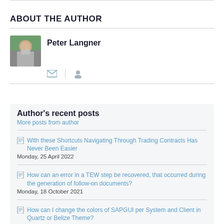ABOUT THE AUTHOR
Peter Langner
Author's recent posts
More posts from author
With these Shortcuts Navigating Through Trading Contracts Has Never Been Easier
Monday, 25 April 2022
How can an error in a TEW step be recovered, that occurred during the generation of follow-on documents?
Monday, 18 October 2021
How can I change the colors of SAPGUI per System and Client in Quartz or Belize Theme?
Monday, 03 May 2021